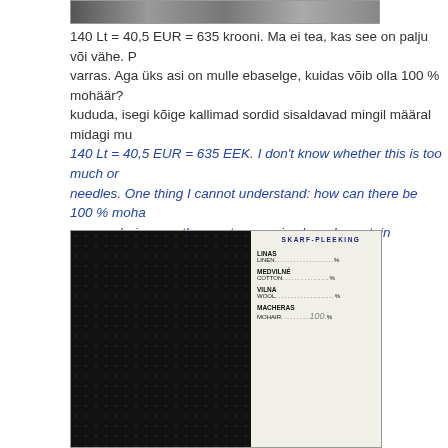[Figure (photo): Partial photo at top of page, cropped]
140 Lt = 40,5 EUR = 635 krooni. Ma ei tea, kas see on palju või vähe. P... varras. Aga üks asi on mulle ebaselge, kuidas võib olla 100 % mohäär?... kududa, isegi kõige kallimad sordid sisaldavad mingil määral midagi mu...
140 Lt = 40,5 EUR = 635 EEK. I don't know whether this is too much or... needles. One thing I cannot understand: how can there be 100 % moha... pure mohair, even the most expensive brands contain something else to... is nice!
[Figure (photo): Photo of a fabric label showing SKARF-PLEKING with LINAS/LINEN, MEDVILNE/COTTON, VILNA/WOOL, MACHERAS/MOHAIR with 100% handwritten for mohair, on a knitted mesh background]